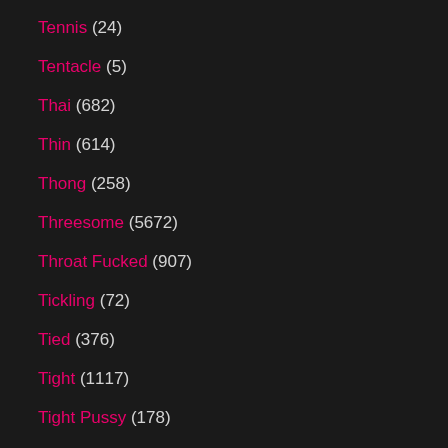Tennis (24)
Tentacle (5)
Thai (682)
Thin (614)
Thong (258)
Threesome (5672)
Throat Fucked (907)
Tickling (72)
Tied (376)
Tight (1117)
Tight Pussy (178)
Tights (93)
Tiny (468)
Tiny Dick (185)
Tiny Tits (187)
Tit Fucking (527)